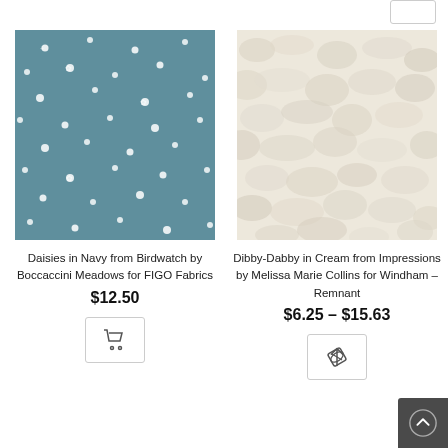[Figure (photo): Teal/navy fabric with scattered small white daisy flowers pattern - Daisies in Navy from Birdwatch by Boccaccini Meadows for FIGO Fabrics]
Daisies in Navy from Birdwatch by Boccaccini Meadows for FIGO Fabrics
$12.50
[Figure (photo): Cream/ivory textured fabric with mottled abstract pattern - Dibby-Dabby in Cream from Impressions by Melissa Marie Collins for Windham – Remnant]
Dibby-Dabby in Cream from Impressions by Melissa Marie Collins for Windham – Remnant
$6.25 – $15.63